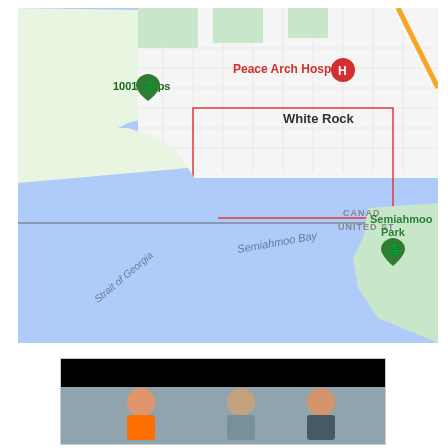[Figure (map): Google Maps screenshot showing White Rock, BC, Canada and the Canada-United States border. Features include: 1001 Steps (green marker, upper left), Peace Arch Hospital (red H marker), White Rock label, Semiahmoo Bay, Strait of Georgia, Semiahmoo Park (green marker, right side), and a red outline rectangle marking a region. A horizontal line marks the CANADA / UNITED STATES border.]
[Figure (photo): Partially visible photo at the bottom of the page showing people, with a black redaction bar across the top portion of the image.]